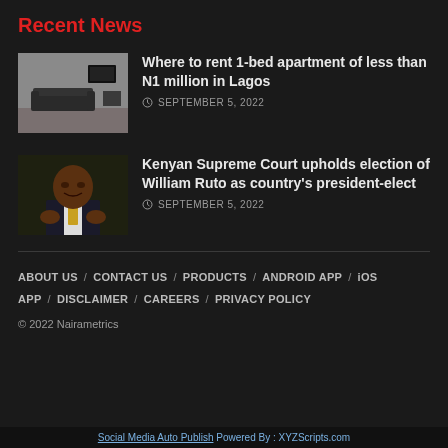Recent News
[Figure (photo): A thumbnail of a minimalist apartment interior with a dark sofa and TV]
Where to rent 1-bed apartment of less than N1 million in Lagos
SEPTEMBER 5, 2022
[Figure (photo): A thumbnail of William Ruto clapping, wearing a suit and yellow tie]
Kenyan Supreme Court upholds election of William Ruto as country's president-elect
SEPTEMBER 5, 2022
ABOUT US / CONTACT US / PRODUCTS / ANDROID APP / iOS APP / DISCLAIMER / CAREERS / PRIVACY POLICY
© 2022 Nairametrics
Social Media Auto Publish Powered By : XYZScripts.com